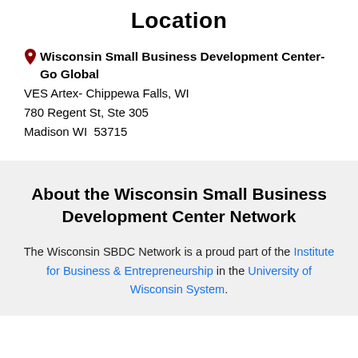Location
Wisconsin Small Business Development Center- Go Global
VES Artex- Chippewa Falls, WI
780 Regent St, Ste 305
Madison WI  53715
About the Wisconsin Small Business Development Center Network
The Wisconsin SBDC Network is a proud part of the Institute for Business & Entrepreneurship in the University of Wisconsin System.